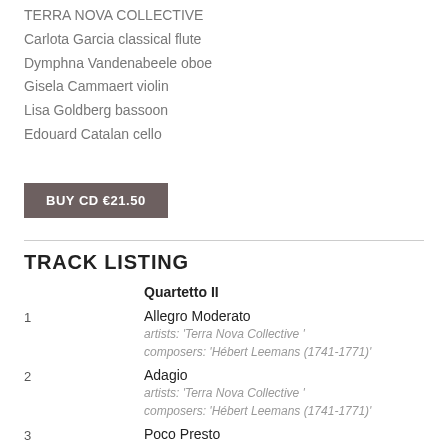TERRA NOVA COLLECTIVE
Carlota Garcia classical flute
Dymphna Vandenabeele oboe
Gisela Cammaert violin
Lisa Goldberg bassoon
Edouard Catalan cello
BUY CD €21.50
TRACK LISTING
Quartetto II
1  Allegro Moderato
artists: 'Terra Nova Collective '
composers: 'Hébert Leemans (1741-1771)'
2  Adagio
artists: 'Terra Nova Collective '
composers: 'Hébert Leemans (1741-1771)'
3  Poco Presto